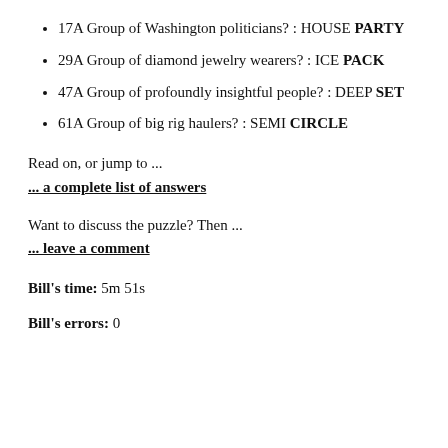17A Group of Washington politicians? : HOUSE PARTY
29A Group of diamond jewelry wearers? : ICE PACK
47A Group of profoundly insightful people? : DEEP SET
61A Group of big rig haulers? : SEMI CIRCLE
Read on, or jump to ...
... a complete list of answers
Want to discuss the puzzle? Then ...
... leave a comment
Bill's time: 5m 51s
Bill's errors: 0